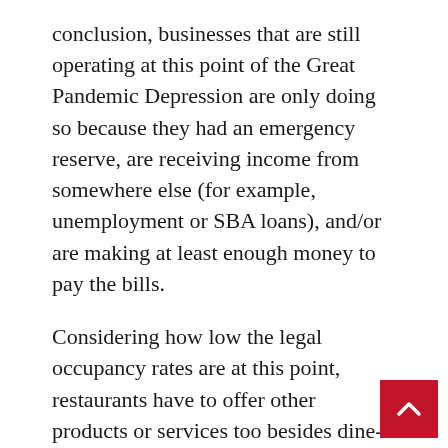conclusion, businesses that are still operating at this point of the Great Pandemic Depression are only doing so because they had an emergency reserve, are receiving income from somewhere else (for example, unemployment or SBA loans), and/or are making at least enough money to pay the bills.
Considering how low the legal occupancy rates are at this point, restaurants have to offer other products or services too besides dine-in services to survive and thrive.  However, that does not mean that you should waste the opportunity to retain the indoor dining portion of your business to the fullest.  Dining-in also keeps jobs for some of your employees so that they will still be around when it is time to scale-up.  Employee flight is a major problem for many businesses now.  Many